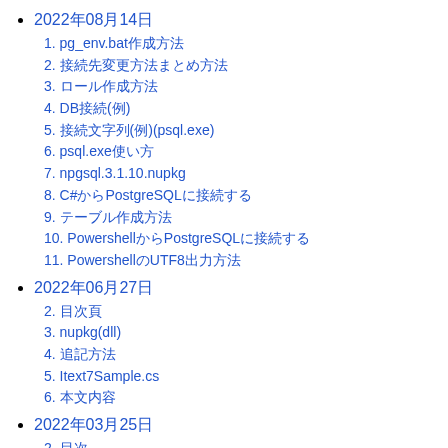2022年08月14日
1. pg_env.bat作成方法
2. 接続先変更方法まとめ方法
3. ロール作成方法
4. DB接続(例)
5. 接続文字列(例)(psql.exe)
6. psql.exe使い方
7. npgsql.3.1.10.nupkg
8. C#からPostgreSQLに接続する
9. テーブル作成方法
10. PowershellからPostgreSQLに接続する
11. PowershellのUTF8出力方法
2022年06月27日
2. 目次頁
3. nupkg(dll)
4. 追記方法
5. Itext7Sample.cs
6. 本文内容
2022年03月25日
2. 目次
2021年10月14日
1. VMware Workstation Player 16.1.2(vmplayer) on Slackware64-current